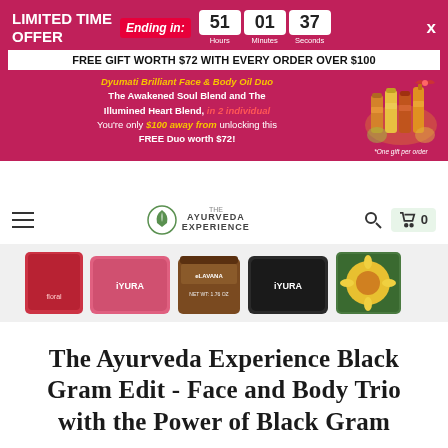LIMITED TIME OFFER — Ending in: 51 Hours 01 Minutes 37 Seconds
FREE GIFT WORTH $72 WITH EVERY ORDER OVER $100
Dyumati Brilliant Face & Body Oil Duo The Awakened Soul Blend and The Illumined Heart Blend, in 2 individual You're only $100 away from unlocking this FREE Duo worth $72! *One gift per order
[Figure (photo): Gift set of face and body oil bottles with decorative ribbon]
[Figure (logo): The Ayurveda Experience logo with leaf icon]
[Figure (photo): Row of IYURA and other Ayurveda product jars and containers]
The Ayurveda Experience Black Gram Edit - Face and Body Trio with the Power of Black Gram